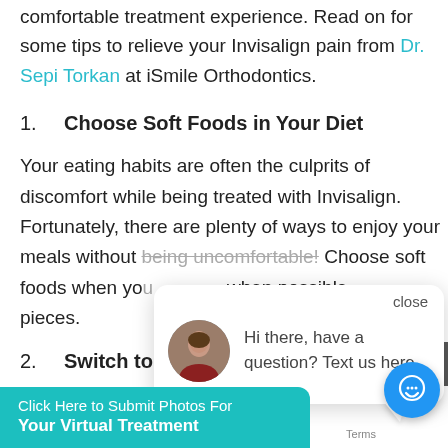comfortable treatment experience. Read on for some tips to relieve your Invisalign pain from Dr. Sepi Torkan at iSmile Orthodontics.
1. Choose Soft Foods in Your Diet
Your eating habits are often the culprits of discomfort while being treated with Invisalign. Fortunately, there are plenty of ways to enjoy your meals without being uncomfortable! Choose soft foods when you … when possible … pieces.
2. Switch to New Trays Before Bedtime
[Figure (screenshot): Chat popup overlay with avatar photo and message 'Hi there, have a question? Text us here.' with a close button and teal chat button.]
[Figure (screenshot): Teal CTA banner: 'Click Here to Submit Photos For Your Virtual Treatment']